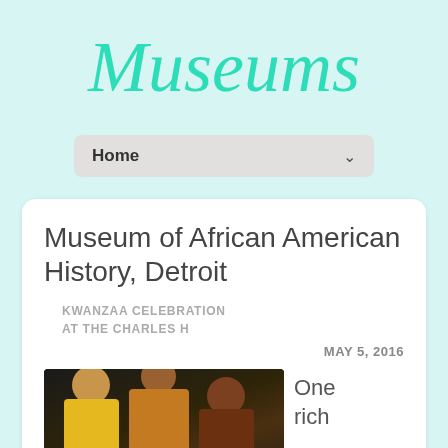Museums
Home
Museum of African American History, Detroit
KWANZAA CELEBRATION AT THE CHARLES H
MAY 5, 2016
[Figure (photo): People in traditional African attire performing on a dark stage, with candles visible on the right side]
One rich